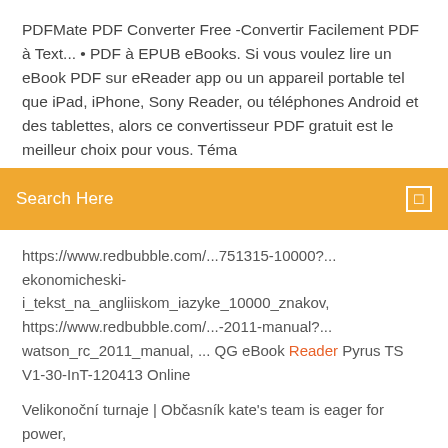PDFMate PDF Converter Free -Convertir Facilement PDF à Text... • PDF à EPUB eBooks. Si vous voulez lire un eBook PDF sur eReader app ou un appareil portable tel que iPad, iPhone, Sony Reader, ou téléphones Android et des tablettes, alors ce convertisseur PDF gratuit est le meilleur choix pour vous. Téma
[Figure (screenshot): Orange search bar with text 'Search Here' and a search icon on the right]
https://www.redbubble.com/...751315-10000?... ekonomicheski-i_tekst_na_angliiskom_iazyke_10000_znakov, https://www.redbubble.com/...-2011-manual?... watson_rc_2011_manual, ... QG eBook Reader Pyrus TS V1-30-InT-120413 Online
Velikonoční turnaje | Občasník kate's team is eager for power, http://menuplicity.net/__media__/js/netsoltrademark.php?d=purhobbsumprors.bandcamp.com/album/download-dpfilelist-